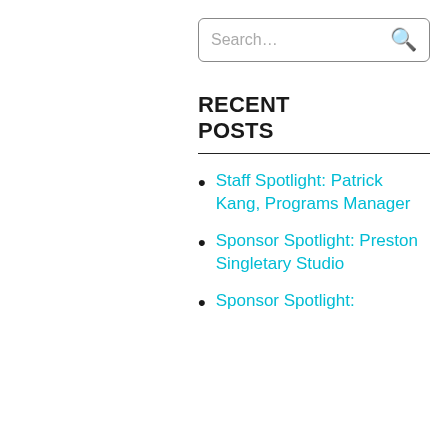Search...
RECENT POSTS
Staff Spotlight: Patrick Kang, Programs Manager
Sponsor Spotlight: Preston Singletary Studio
Sponsor Spotlight: